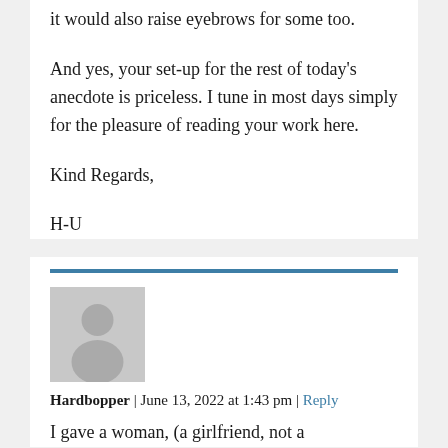it would also raise eyebrows for some too.
And yes, your set-up for the rest of today's anecdote is priceless. I tune in most days simply for the pleasure of reading your work here.
Kind Regards,
H-U
[Figure (photo): Grey silhouette avatar placeholder image for user Hardbopper]
Hardbopper | June 13, 2022 at 1:43 pm | Reply
I gave a woman, (a girlfriend, not a